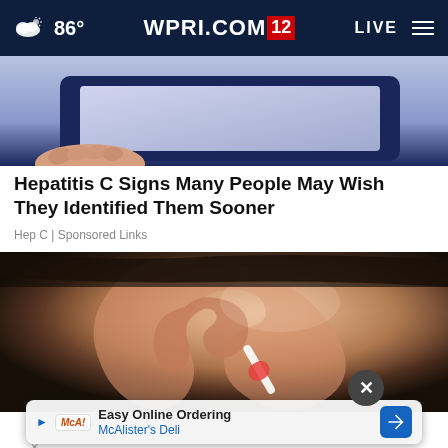86° WPRI.COM 12 LIVE
[Figure (photo): Partial view of what appears to be a laptop or electronic device with dark navy blue casing and light purple/grey screen area, with a hand visible at the bottom left]
Hepatitis C Signs Many People May Wish They Identified Them Sooner
Hep C | Sponsored Links
[Figure (photo): Close-up photograph of a human ear with a cotton swab or ear drop applicator being inserted, showing skin tones from light to darker shades]
Easy Online Ordering McAlister's Deli